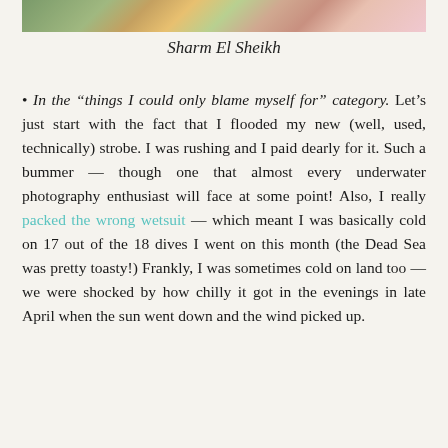[Figure (photo): Partial photo strip at top showing outdoor scene with vegetation and flowers at Sharm El Sheikh]
Sharm El Sheikh
In the “things I could only blame myself for” category. Let’s just start with the fact that I flooded my new (well, used, technically) strobe. I was rushing and I paid dearly for it. Such a bummer — though one that almost every underwater photography enthusiast will face at some point! Also, I really packed the wrong wetsuit — which meant I was basically cold on 17 out of the 18 dives I went on this month (the Dead Sea was pretty toasty!) Frankly, I was sometimes cold on land too — we were shocked by how chilly it got in the evenings in late April when the sun went down and the wind picked up.